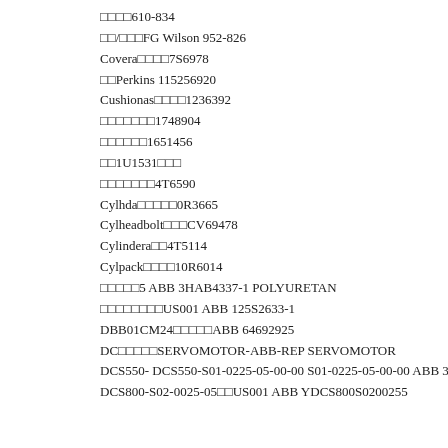□□□□610-834
□□/□□□FG Wilson 952-826
Covera□□□□7S6978
□□Perkins 115256920
Cushionas□□□□1236392
□□□□□□□1748904
□□□□□□1651456
□□1U1531□□□
□□□□□□□4T6590
Cylhda□□□□□0R3665
Cylheadbolt□□□CV69478
Cylindera□□4T5114
Cylpack□□□□10R6014
□□□□□5 ABB 3HAB4337-1 POLYURETAN
□□□□□□□□US001 ABB 125S2633-1
DBB01CM24□□□□□ABB 64692925
DC□□□□□SERVOMOTOR-ABB-REP SERVOMOTOR
DCS550- DCS550-S01-0225-05-00-00 S01-0225-05-00-00 ABB 3ADT
DCS800-S02-0025-05□□US001 ABB YDCS800S0200255